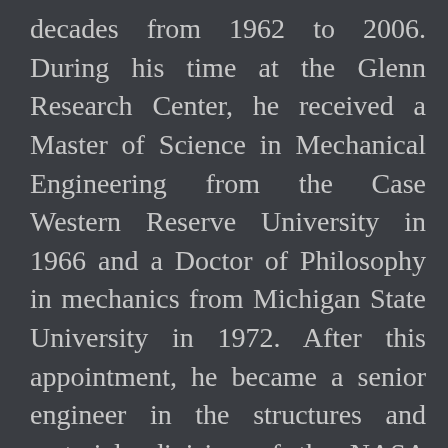decades from 1962 to 2006. During his time at the Glenn Research Center, he received a Master of Science in Mechanical Engineering from the Case Western Reserve University in 1966 and a Doctor of Philosophy in mechanics from Michigan State University in 1972. After this appointment, he became a senior engineer in the structures and materials division of the NASA Glenn Research Center until his retirement in 2013.